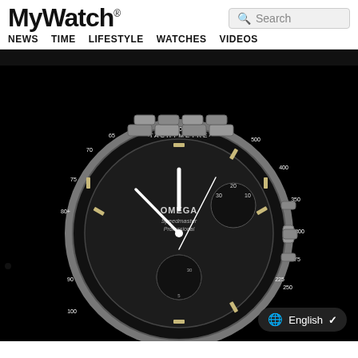MyWatch® — NEWS  TIME  LIFESTYLE  WATCHES  VIDEOS
[Figure (photo): Omega Speedmaster Professional chronograph watch with tachymetre bezel on metal bracelet against black background]
[Figure (screenshot): Language selector pill showing globe icon, 'English', and a checkmark/chevron, on dark background]